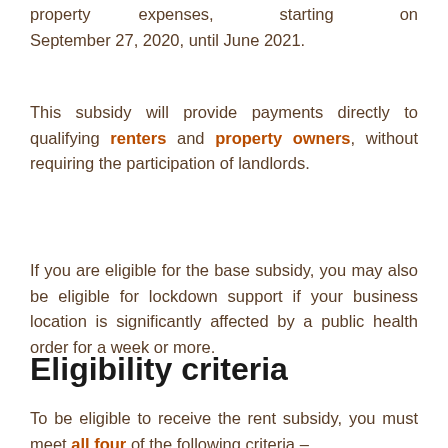property expenses, starting on September 27, 2020, until June 2021.
This subsidy will provide payments directly to qualifying renters and property owners, without requiring the participation of landlords.
If you are eligible for the base subsidy, you may also be eligible for lockdown support if your business location is significantly affected by a public health order for a week or more.
Eligibility criteria
To be eligible to receive the rent subsidy, you must meet all four of the following criteria –